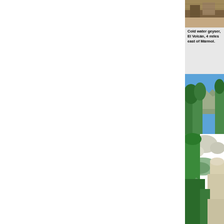[Figure (photo): Top portion of cold water geyser at El Volcán, partially visible at top right of page, rocky/earthy tones]
Cold water geyser, El Volcán, 4 miles east of Mármol.
[Figure (photo): Historic spring on El Camino Real, Agua Dulce – green vegetation, water pool, rocky desert landscape with mountains in background]
Historic spring on El Camino Real, Agua Dulce